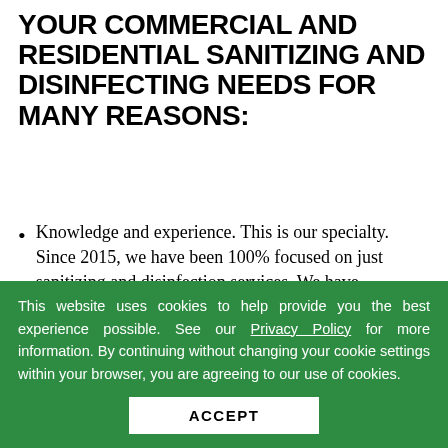YOUR COMMERCIAL AND RESIDENTIAL SANITIZING AND DISINFECTING NEEDS FOR MANY REASONS:
Knowledge and experience. This is our specialty. Since 2015, we have been 100% focused on just sanitizing and disinfection services. We have conducted extensive studies based on experiments with other methods like ozone, UV light, hydrogen peroxide, chlorine dioxide, and other quats. These studies were
This website uses cookies to help provide you the best experience possible. See our Privacy Policy for more information. By continuing without changing your cookie settings within your browser, you are agreeing to our use of cookies.
ACCEPT